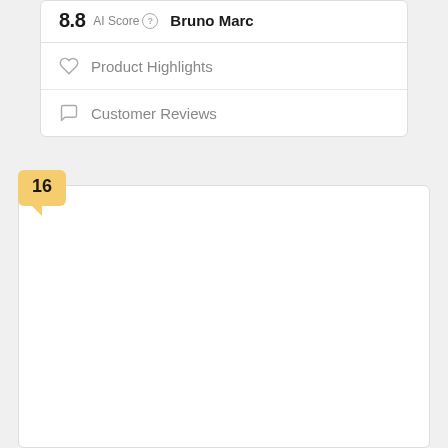8.8 AI Score  Bruno Marc
Product Highlights
Customer Reviews
16